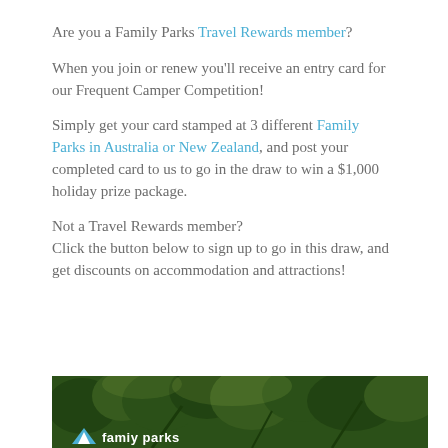Are you a Family Parks Travel Rewards member?
When you join or renew you'll receive an entry card for our Frequent Camper Competition!
Simply get your card stamped at 3 different Family Parks in Australia or New Zealand, and post your completed card to us to go in the draw to win a $1,000 holiday prize package.
Not a Travel Rewards member?
Click the button below to sign up to go in this draw, and get discounts on accommodation and attractions!
[Figure (photo): Forest/nature background image with Family Parks logo at bottom]